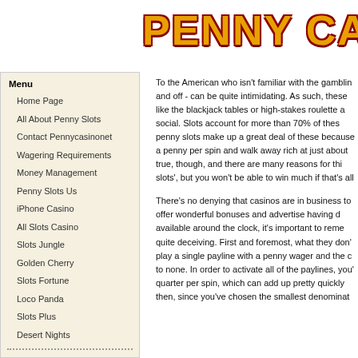PENNY CA[SINO]
Menu
Home Page
All About Penny Slots
Contact Pennycasinonet
Wagering Requirements
Money Management
Penny Slots Us
iPhone Casino
All Slots Casino
Slots Jungle
Golden Cherry
Slots Fortune
Loco Panda
Slots Plus
Desert Nights
To the American who isn't familiar with the gambling and off - can be quite intimidating. As such, these like the blackjack tables or high-stakes roulette a social. Slots account for more than 70% of thes penny slots make up a great deal of these because a penny per spin and walk away rich at just about true, though, and there are many reasons for thi slots', but you won't be able to win much if that's all
There's no denying that casinos are in business to offer wonderful bonuses and advertise having d available around the clock, it's important to reme quite deceiving. First and foremost, what they don' play a single payline with a penny wager and the c to none. In order to activate all of the paylines, you' quarter per spin, which can add up pretty quickly then, since you've chosen the smallest denominat